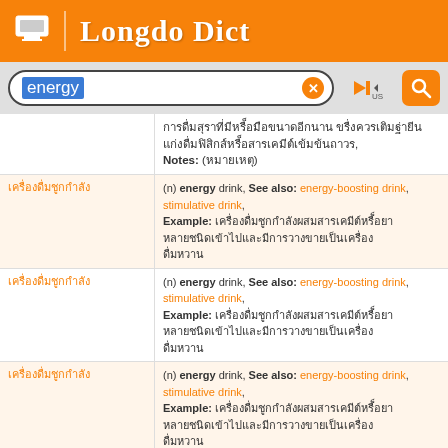Longdo Dict
energy [search bar]
| Thai Term | Definition |
| --- | --- |
| [Thai] | [Thai text] Notes: ([Thai]) |
| [Thai] | (n) energy drink, See also: energy-boosting drink, stimulative drink, Example: [Thai] |
| [Thai] | (n) energy drink, See also: energy-boosting drink, stimulative drink, Example: [Thai] |
| [Thai] | (n) energy drink, See also: energy-boosting drink, stimulative drink, Example: [Thai] |
| [Thai] | (n) energy drink |
| [Thai] | (n) power, See also: energy |